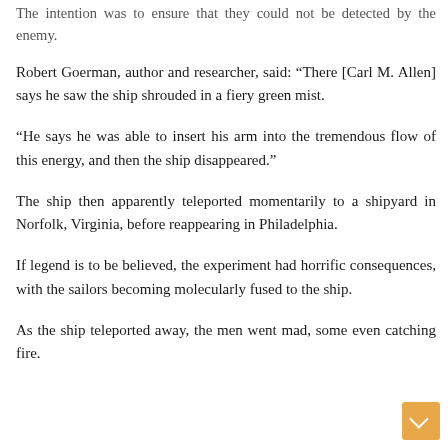The intention was to ensure that they could not be detected by the enemy.
Robert Goerman, author and researcher, said: “There [Carl M. Allen] says he saw the ship shrouded in a fiery green mist.
“He says he was able to insert his arm into the tremendous flow of this energy, and then the ship disappeared.”
The ship then apparently teleported momentarily to a shipyard in Norfolk, Virginia, before reappearing in Philadelphia.
If legend is to be believed, the experiment had horrific consequences, with the sailors becoming molecularly fused to the ship.
As the ship teleported away, the men went mad, some even catching fire.